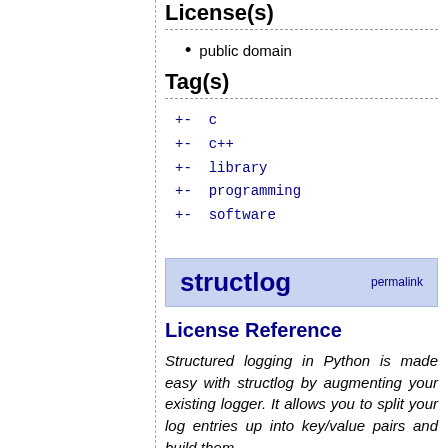License(s)
public domain
Tag(s)
+- c
+- c++
+- library
+- programming
+- software
structlog
License Reference
Structured logging in Python is made easy with structlog by augmenting your existing logger. It allows you to split your log entries up into key/value pairs and build them